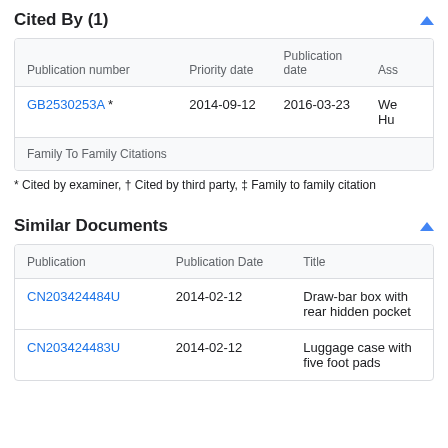Cited By (1)
| Publication number | Priority date | Publication date | Ass |
| --- | --- | --- | --- |
| GB2530253A * | 2014-09-12 | 2016-03-23 | We Hu |
| Family To Family Citations |  |  |  |
* Cited by examiner, † Cited by third party, ‡ Family to family citation
Similar Documents
| Publication | Publication Date | Title |
| --- | --- | --- |
| CN203424484U | 2014-02-12 | Draw-bar box with rear hidden pocket |
| CN203424483U | 2014-02-12 | Luggage case with five foot pads |